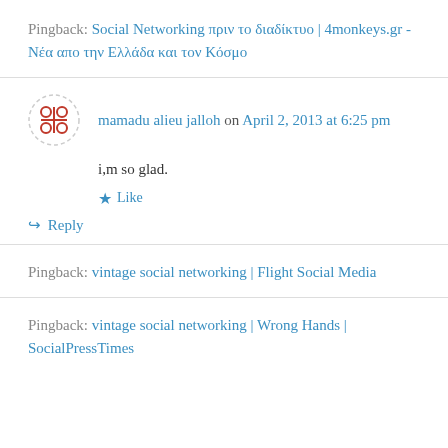Pingback: Social Networking πριν το διαδίκτυο | 4monkeys.gr - Νέα απο την Ελλάδα και τον Κόσμο
mamadu alieu jalloh on April 2, 2013 at 6:25 pm
i,m so glad.
Like
Reply
Pingback: vintage social networking | Flight Social Media
Pingback: vintage social networking | Wrong Hands | SocialPressTimes